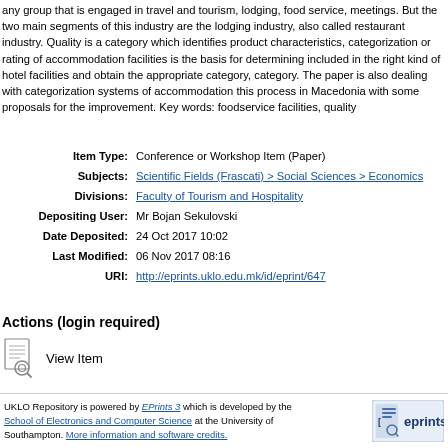any group that is engaged in travel and tourism, lodging, food service, meetings. But the two main segments of this industry are the lodging industry, also called restaurant industry. Quality is a category which identifies product characteristics, categorization or rating of accommodation facilities is the basis for determining included in the right kind of hotel facilities and obtain the appropriate category, category. The paper is also dealing with categorization systems of accommodation this process in Macedonia with some proposals for the improvement. Key words: foodservice facilities, quality
| Field | Value |
| --- | --- |
| Item Type: | Conference or Workshop Item (Paper) |
| Subjects: | Scientific Fields (Frascati) > Social Sciences > Economics |
| Divisions: | Faculty of Tourism and Hospitality |
| Depositing User: | Mr Bojan Sekulovski |
| Date Deposited: | 24 Oct 2017 10:02 |
| Last Modified: | 06 Nov 2017 08:16 |
| URI: | http://eprints.uklo.edu.mk/id/eprint/647 |
Actions (login required)
View Item
UKLO Repository is powered by EPrints 3 which is developed by the School of Electronics and Computer Science at the University of Southampton. More information and software credits.